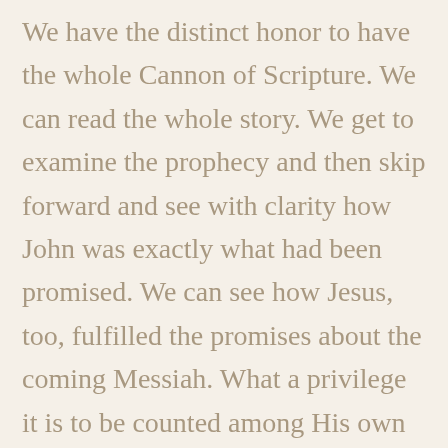We have the distinct honor to have the whole Cannon of Scripture. We can read the whole story. We get to examine the prophecy and then skip forward and see with clarity how John was exactly what had been promised. We can see how Jesus, too, fulfilled the promises about the coming Messiah. What a privilege it is to be counted among His own in this exact time in history! But let us be cautious. Let's refuse to allow His seemingly long silence to lull us into complacency as the Jewish people were. There are still many promises yet to be fulfilled when He comes again. And He will come again. God's